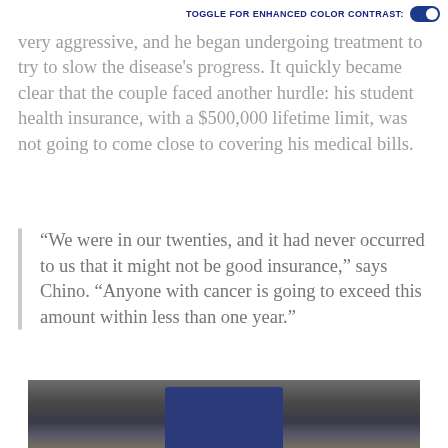TOGGLE FOR ENHANCED COLOR CONTRAST:
endocrine (hormonal) system cells. His cancer was very aggressive, and he began undergoing treatment to try to slow the disease's progress. It quickly became clear that the couple faced another hurdle: his student health insurance, with a $500,000 lifetime limit, was not going to come close to covering his medical bills.
“We were in our twenties, and it had never occurred to us that it might not be good insurance,” says Chino. “Anyone with cancer is going to exceed this amount within less than one year.”
[Figure (photo): Photo of a person, partially visible, wearing blue jeans. Dark blurred background with some tan/beige tones.]